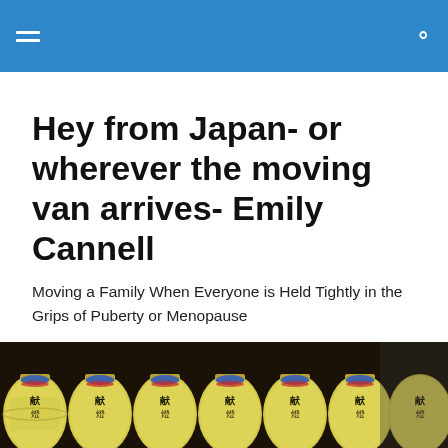Hey from Japan- or wherever the moving van arrives- Emily Cannell
Moving a Family When Everyone is Held Tightly in the Grips of Puberty or Menopause
[Figure (photo): Rows of yellow Japanese paper lanterns with kanji characters, densely packed, photographed from below.]
The New Normal